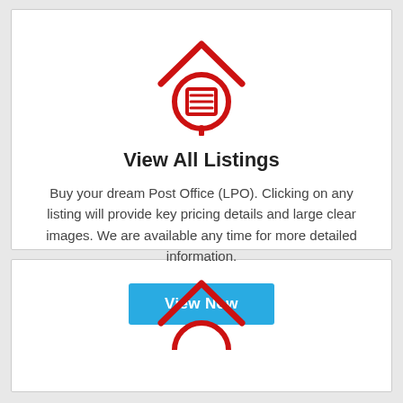[Figure (illustration): Red house/listing icon: a house silhouette with a roof (chevron) above a circle containing a document/list icon, all in red outline style.]
View All Listings
Buy your dream Post Office (LPO). Clicking on any listing will provide key pricing details and large clear images. We are available any time for more detailed information.
[Figure (illustration): Blue 'View Now' button.]
[Figure (illustration): Partial red house/listing icon at bottom, partially visible second card.]